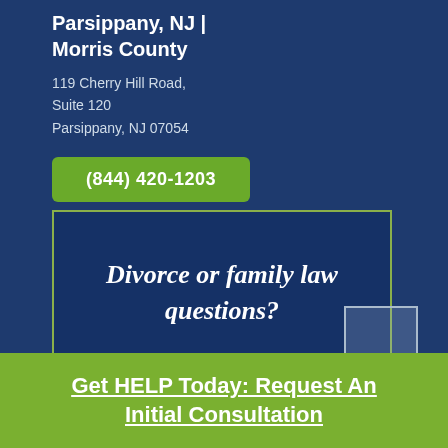Parsippany, NJ | Morris County
119 Cherry Hill Road,
Suite 120
Parsippany, NJ 07054
(844) 420-1203
[Figure (other): Banner box with italic bold text: Divorce or family law questions?]
Get HELP Today: Request An Initial Consultation